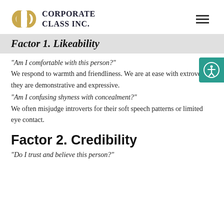CORPORATE CLASS INC.
Factor 1. Likeability
"Am I comfortable with this person?" We respond to warmth and friendliness. We are at ease with extroverts; they are demonstrative and expressive.
"Am I confusing shyness with concealment?" We often misjudge introverts for their soft speech patterns or limited eye contact.
Factor 2. Credibility
"Do I trust and believe this person?"